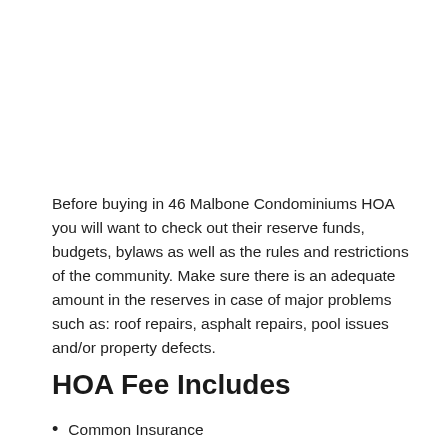Before buying in 46 Malbone Condominiums HOA you will want to check out their reserve funds, budgets, bylaws as well as the rules and restrictions of the community. Make sure there is an adequate amount in the reserves in case of major problems such as: roof repairs, asphalt repairs, pool issues and/or property defects.
HOA Fee Includes
Common Insurance